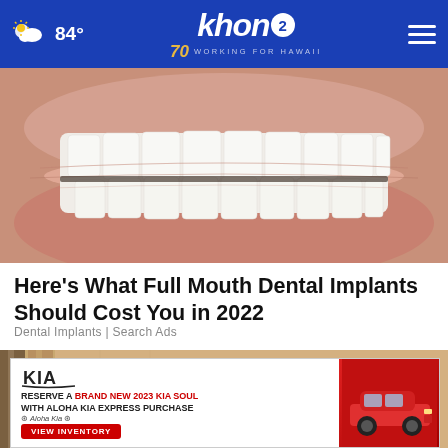84° khon2 WORKING FOR HAWAII
[Figure (photo): Close-up photograph of a human mouth showing teeth, with upper and lower lips visible against a skin-toned background.]
Here's What Full Mouth Dental Implants Should Cost You in 2022
Dental Implants | Search Ads
[Figure (photo): Close-up photo of a door knob wrapped in aluminum foil on a wooden door.]
[Figure (screenshot): KIA advertisement banner: 'RESERVE A BRAND NEW 2023 KIA SOUL WITH ALOHA KIA EXPRESS PURCHASE' with a VIEW INVENTORY button and a red KIA Soul image on the right.]